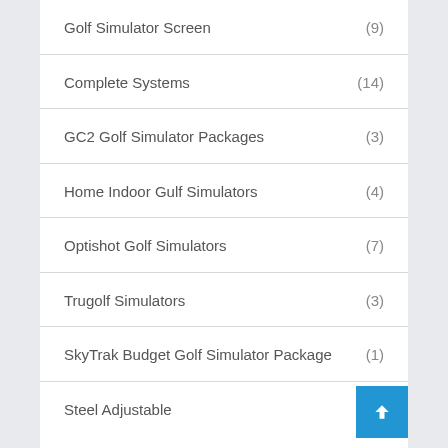Golf Simulator Screen (9)
Complete Systems (14)
GC2 Golf Simulator Packages (3)
Home Indoor Gulf Simulators (4)
Optishot Golf Simulators (7)
Trugolf Simulators (3)
SkyTrak Budget Golf Simulator Package (1)
Steel Adjustable (1)